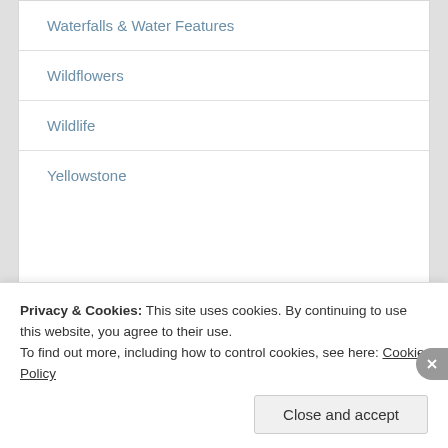Waterfalls & Water Features
Wildflowers
Wildlife
Yellowstone
Advertisements
[Figure (logo): Automattic logo with stylized 'O' containing a circle icon]
Privacy & Cookies: This site uses cookies. By continuing to use this website, you agree to their use.
To find out more, including how to control cookies, see here: Cookie Policy
Close and accept